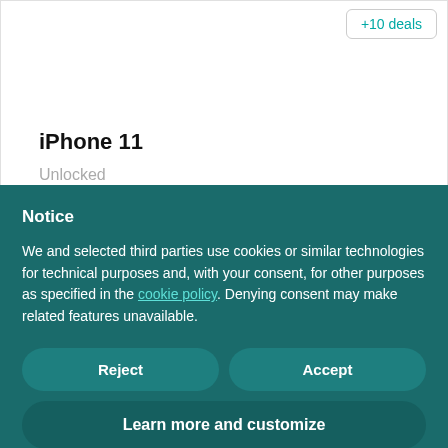+10 deals
iPhone 11
Unlocked
Notice
We and selected third parties use cookies or similar technologies for technical purposes and, with your consent, for other purposes as specified in the cookie policy. Denying consent may make related features unavailable.
Reject
Accept
Learn more and customize